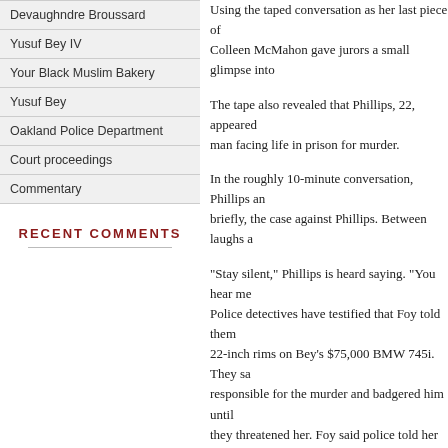Devaughndre Broussard
Yusuf Bey IV
Your Black Muslim Bakery
Yusuf Bey
Oakland Police Department
Court proceedings
Commentary
RECENT COMMENTS
Using the taped conversation as her last piece of evidence, Colleen McMahon gave jurors a small glimpse into
The tape also revealed that Phillips, 22, appeared man facing life in prison for murder.
In the roughly 10-minute conversation, Phillips and briefly, the case against Phillips. Between laughs a
“Stay silent,” Phillips is heard saying. “You hear me Police detectives have testified that Foy told them 22-inch rims on Bey’s $75,000 BMW 745i. They sa responsible for the murder and badgered him until they threatened her. Foy said police told her that a her family if she did not pin the murder on Phillips.
Foy also testified that she was not in love with Phi professing their love for each other.
At one point, Phillips talks to Foy about a Super Bo
“I apologize for that time we were talking … you do Bowl party. I didn’t like that.”
Foy responded, “I love you, too.”
At another point in the conversation, Phillips talk